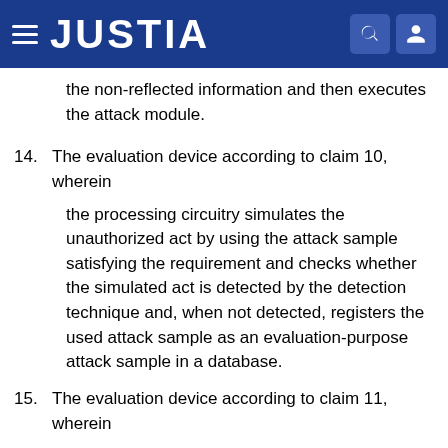JUSTIA
the non-reflected information and then executes the attack module.
14. The evaluation device according to claim 10, wherein
the processing circuitry simulates the unauthorized act by using the attack sample satisfying the requirement and checks whether the simulated act is detected by the detection technique and, when not detected, registers the used attack sample as an evaluation-purpose attack sample in a database.
15. The evaluation device according to claim 11, wherein
the processing circuitry simulates the unauthorized act by using the attack sample satisfying the requirement and checks whether the